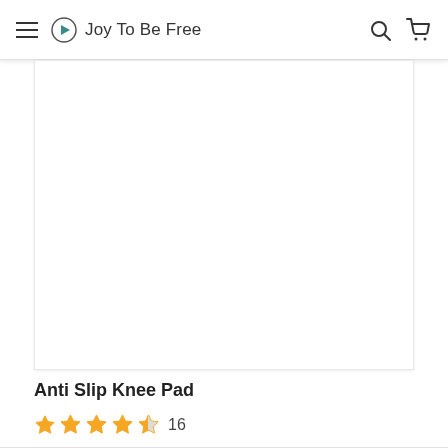Joy To Be Free
[Figure (photo): White/blank product image area for Anti Slip Knee Pad]
Anti Slip Knee Pad
★★★★½ 16